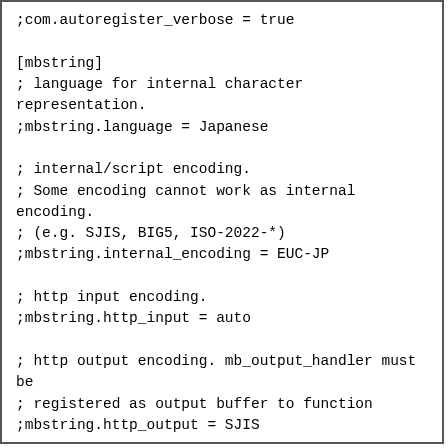;com.autoregister_verbose = true

[mbstring]
; language for internal character representation.
;mbstring.language = Japanese

; internal/script encoding.
; Some encoding cannot work as internal encoding.
; (e.g. SJIS, BIG5, ISO-2022-*)
;mbstring.internal_encoding = EUC-JP

; http input encoding.
;mbstring.http_input = auto

; http output encoding. mb_output_handler must be
; registered as output buffer to function
;mbstring.http_output = SJIS

; enable automatic encoding translation according to
; mbstring.internal_encoding setting. Input chars are
; converted to internal encoding by setting this to On.
; Note: Do _not_ use automatic encoding translation for
; portable libs/applications.
;mbstring.encoding_translation = Off